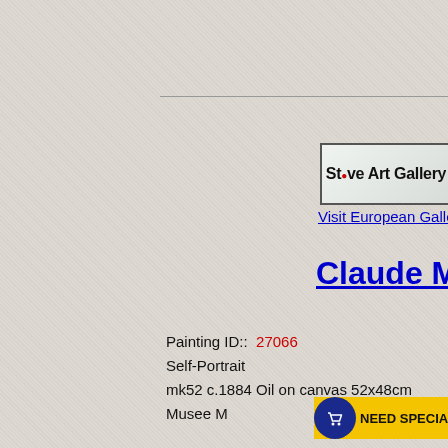[Figure (logo): Steve Art Gallery logo in a bordered box with gradient background]
Visit European Gallery
Claude Mone…
Painting ID::  27066
Self-Portrait
mk52 c.1884 Oil on canvas 52x48cm Musee M…
[Figure (other): Need Special Size button with shopping cart icon]